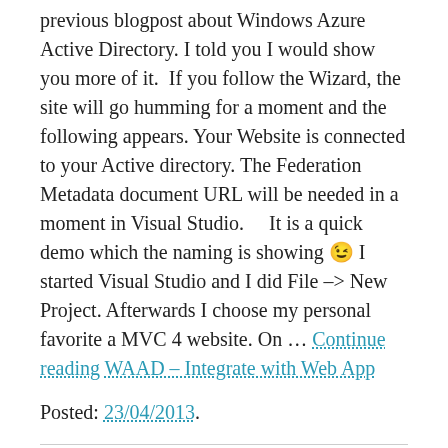previous blogpost about Windows Azure Active Directory. I told you I would show you more of it.  If you follow the Wizard, the site will go humming for a moment and the following appears. Your Website is connected to your Active directory. The Federation Metadata document URL will be needed in a moment in Visual Studio.    It is a quick demo which the naming is showing 😉 I started Visual Studio and I did File –> New Project. Afterwards I choose my personal favorite a MVC 4 website. On … Continue reading WAAD – Integrate with Web App
Posted: 23/04/2013.
VCards and QRCodes